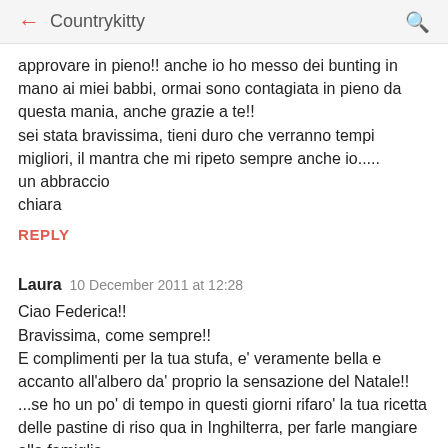← Countrykitty 🔍
approvare in pieno!! anche io ho messo dei bunting in mano ai miei babbi, ormai sono contagiata in pieno da questa mania, anche grazie a te!!
sei stata bravissima, tieni duro che verranno tempi migliori, il mantra che mi ripeto sempre anche io.....
un abbraccio
chiara
REPLY
Laura  10 December 2011 at 12:28
Ciao Federica!!
Bravissima, come sempre!!
E complimenti per la tua stufa, e' veramente bella e accanto all'albero da' proprio la sensazione del Natale!!
...se ho un po' di tempo in questi giorni rifaro' la tua ricetta delle pastine di riso qua in Inghilterra, per farle mangiare alla famiglia